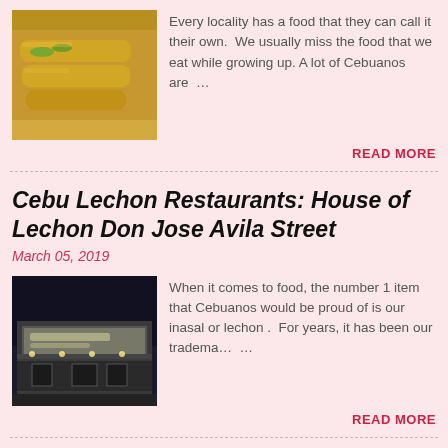[Figure (photo): Photo of fried spring rolls or lumpia on a plate with green garnish]
Every locality has a food that they can call it their own.  We usually miss the food that we eat while growing up. A lot of Cebuanos are …
READ MORE
Cebu Lechon Restaurants: House of Lechon Don Jose Avila Street
March 05, 2019
[Figure (photo): Night photo of the exterior of House of Lechon restaurant on Avila Street]
When it comes to food, the number 1 item that Cebuanos would be proud of is our inasal or lechon .  For years, it has been our tradema… …
READ MORE
Eat All You Can Restaurants in Cebu: Grand Majestic